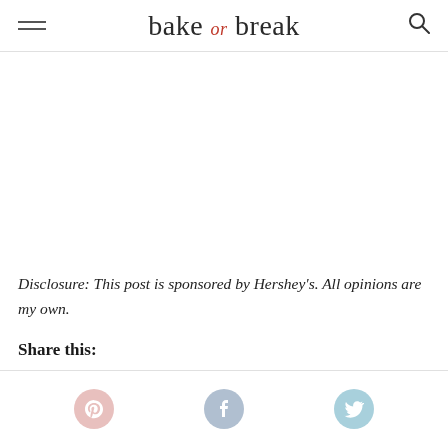bake or break
Disclosure: This post is sponsored by Hershey's. All opinions are my own.
Share this:
[Figure (illustration): Social sharing icons: Pinterest (pink circle with P), Facebook (blue-grey circle with f), Twitter (light blue circle with bird)]